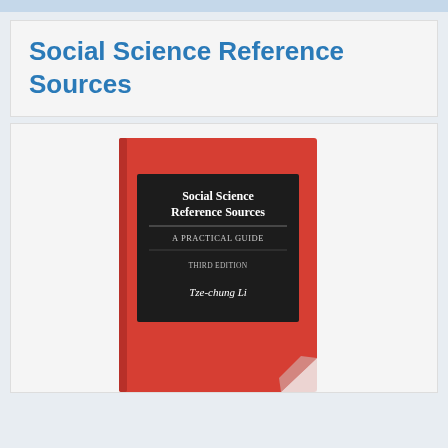Social Science Reference Sources
[Figure (photo): Book cover of 'Social Science Reference Sources: A Practical Guide, Third Edition' by Tze-chung Li. Red hardcover with a dark title plate showing the book title, subtitle 'A Practical Guide', 'Third Edition', and author name. Bottom right corner shows a page curl effect.]